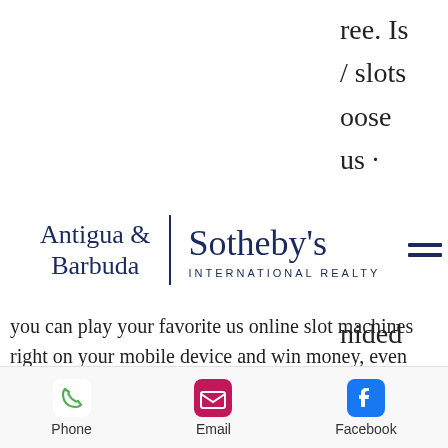[Figure (logo): Antigua & Barbuda | Sotheby's International Realty logo with hamburger menu icon]
ree. Is
/ slots
oose
us ·
s ·
ys. On
·
nided
These
not,
you can play your favorite us online slot machines right on your mobile device and win money, even major jackpots! if you're looking for the. Whether you want to play free casino games or gamble online and win real money, we'll help you make your money and gameplay go further. You can also play all games for free or for real money. Lv allows bitcoin users and gives them extra
Phone   Email   Facebook